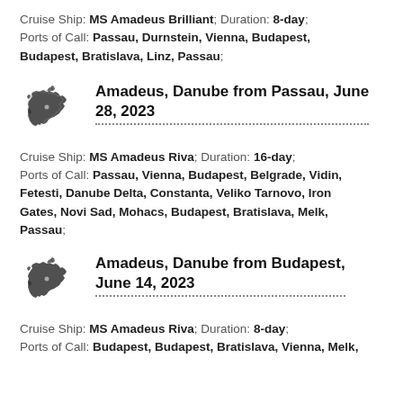Cruise Ship: MS Amadeus Brilliant; Duration: 8-day; Ports of Call: Passau, Durnstein, Vienna, Budapest, Budapest, Bratislava, Linz, Passau;
Amadeus, Danube from Passau, June 28, 2023
Cruise Ship: MS Amadeus Riva; Duration: 16-day; Ports of Call: Passau, Vienna, Budapest, Belgrade, Vidin, Fetesti, Danube Delta, Constanta, Veliko Tarnovo, Iron Gates, Novi Sad, Mohacs, Budapest, Bratislava, Melk, Passau;
Amadeus, Danube from Budapest, June 14, 2023
Cruise Ship: MS Amadeus Riva; Duration: 8-day; Ports of Call: Budapest, Budapest, Bratislava, Vienna, Melk,